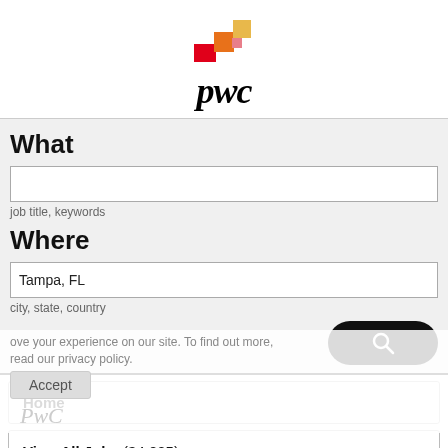[Figure (logo): PwC logo with colored blocks (red, orange, yellow) and italic pwc wordmark]
What
job title, keywords
Where
Tampa, FL
city, state, country
Home
View All Jobs (34,025)
ove your experience on our site. To find out more, read our privacy policy.
Accept
[Figure (logo): PwC italic wordmark in light gray at the bottom]